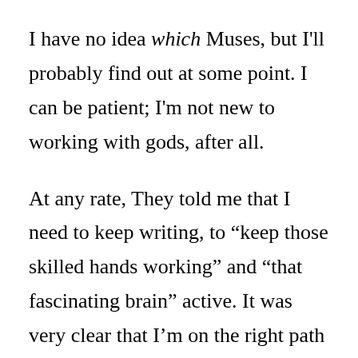I have no idea which Muses, but I'll probably find out at some point. I can be patient; I'm not new to working with gods, after all.

At any rate, They told me that I need to keep writing, to “keep those skilled hands working” and “that fascinating brain” active. It was very clear that I’m on the right path with regards to writing as a career choice, and that whatever inspiration hits me in the coming months I need to take and fucking